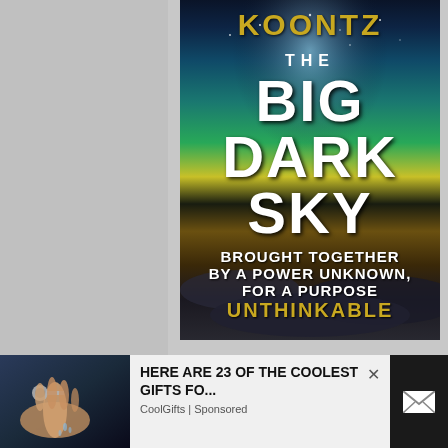[Figure (photo): Book cover of 'The Big Dark Sky' by Koontz, showing a dramatic sky landscape with teal and gold tones, overlaid with large white and gold text]
HERE ARE 23 OF THE COOLEST GIFTS FO...
CoolGifts | Sponsored